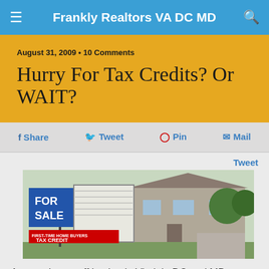Frankly Realtors VA DC MD
August 31, 2009 • 10 Comments
Hurry For Tax Credits? Or WAIT?
Share  Tweet  Pin  Mail
Tweet
[Figure (photo): A 'For Sale' sign in front of a house with a 'First-Time Home Buyers Tax Credit' banner attached to it.]
Are you better off buying in Virginia DC and MD AFTER the tax credit expires? Maybe.